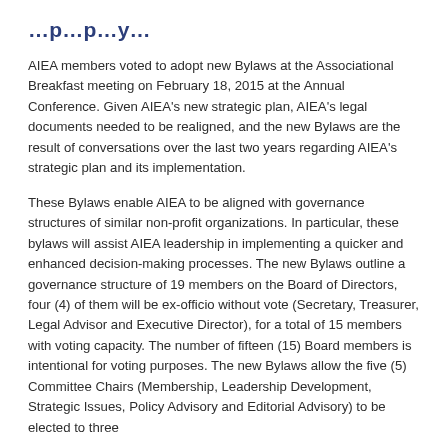…p…p…y…
AIEA members voted to adopt new Bylaws at the Associational Breakfast meeting on February 18, 2015 at the Annual Conference. Given AIEA's new strategic plan, AIEA's legal documents needed to be realigned, and the new Bylaws are the result of conversations over the last two years regarding AIEA's strategic plan and its implementation.
These Bylaws enable AIEA to be aligned with governance structures of similar non-profit organizations. In particular, these bylaws will assist AIEA leadership in implementing a quicker and enhanced decision-making processes. The new Bylaws outline a governance structure of 19 members on the Board of Directors, four (4) of them will be ex-officio without vote (Secretary, Treasurer, Legal Advisor and Executive Director), for a total of 15 members with voting capacity. The number of fifteen (15) Board members is intentional for voting purposes. The new Bylaws allow the five (5) Committee Chairs (Membership, Leadership Development, Strategic Issues, Policy Advisory and Editorial Advisory) to be elected to three